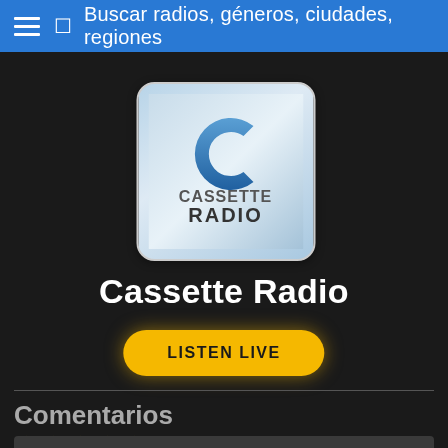Buscar radios, géneros, ciudades, regiones
[Figure (logo): Cassette Radio logo — rounded square with light blue gradient background, blue stylized 'C' icon above text 'CASSETTE RADIO']
Cassette Radio
LISTEN LIVE
Comentarios
★★★★★
Escribe tu opinión: